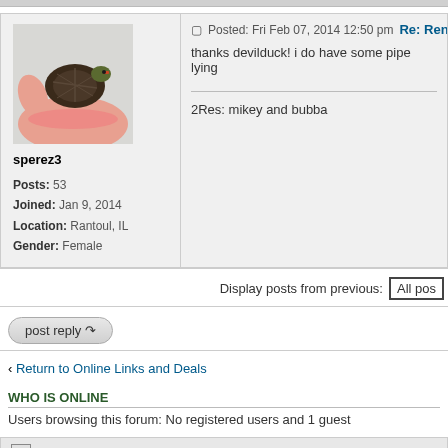[Figure (photo): Forum post with user avatar showing a turtle being held in a hand]
sperez3
Posts: 53
Joined: Jan 9, 2014
Location: Rantoul, IL
Gender: Female
Posted: Fri Feb 07, 2014 12:50 pm  Re: Rena 722 /
thanks devilduck! i do have some pipe lying
2Res: mikey and bubba
Display posts from previous:  All pos
post reply
< Return to Online Links and Deals
WHO IS ONLINE
Users browsing this forum: No registered users and 1 guest
Board index
Powered by php